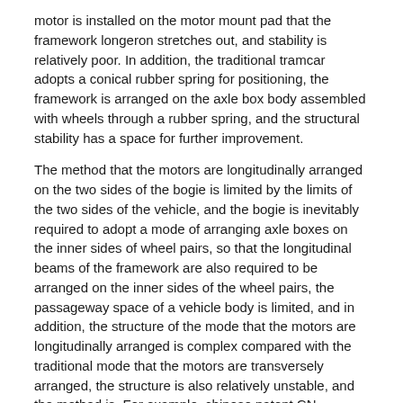motor is installed on the motor mount pad that the framework longeron stretches out, and stability is relatively poor. In addition, the traditional tramcar adopts a conical rubber spring for positioning, the framework is arranged on the axle box body assembled with wheels through a rubber spring, and the structural stability has a space for further improvement.
The method that the motors are longitudinally arranged on the two sides of the bogie is limited by the limits of the two sides of the vehicle, and the bogie is inevitably required to adopt a mode of arranging axle boxes on the inner sides of wheel pairs, so that the longitudinal beams of the framework are also required to be arranged on the inner sides of the wheel pairs, the passageway space of a vehicle body is limited, and in addition, the structure of the mode that the motors are longitudinally arranged is complex compared with the traditional mode that the motors are transversely arranged, the structure is also relatively unstable, and the method is. For example, chinese patent CN 104590304B discloses a bogie for low-floor tram, in which a series of springs are set between wheel pair and frame, the bogie is not equipped with axle